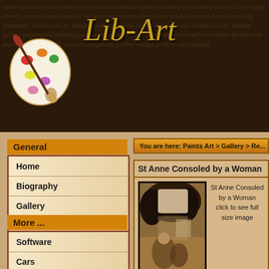[Figure (screenshot): Lib-Art.com website header with paint palette logo and decorative script background text, site title in golden italic script]
General
Home
Biography
Gallery
Other
More ...
Software
Cars
Android
You are here: Paints Art > Gallery > Re...
St Anne Consoled by a Woman
St Anne Consoled by a Woman click to see full size image
[Figure (illustration): Thumbnail of painting 'St Anne Consoled by a Woman' - sepia toned art showing figures in a landscape]